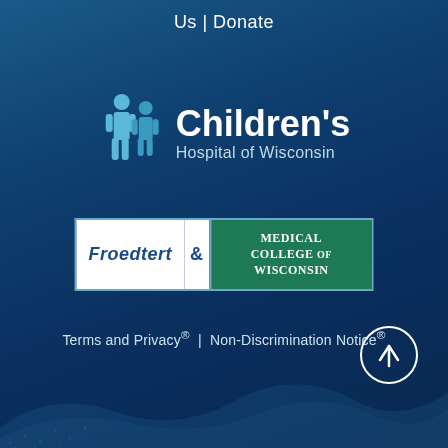Us | Donate
[Figure (logo): Children's Hospital of Wisconsin logo with two human figure silhouettes in light blue and the text Children's Hospital of Wisconsin]
[Figure (logo): Froedtert & Medical College of Wisconsin logo — white left panel with Froedtert in italic blue, ampersand, and green right panel with Medical College of Wisconsin in white serif text]
Terms and Privacy ® | Non-Discrimination Notice ®
[Figure (other): Circular scroll-to-top button with upward arrow]